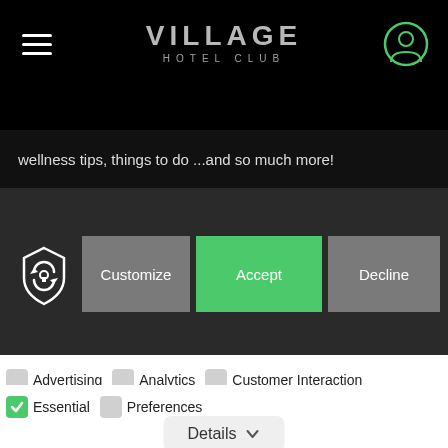VILLAGE HOTEL CLUB
wellness tips, things to do ...and so much more!
[Figure (screenshot): Cookie consent banner with Customize, Accept, Decline buttons on dark background with privacy/lock icon]
Advertising
Analytics
Customer Interaction
Essential
Preferences
Details